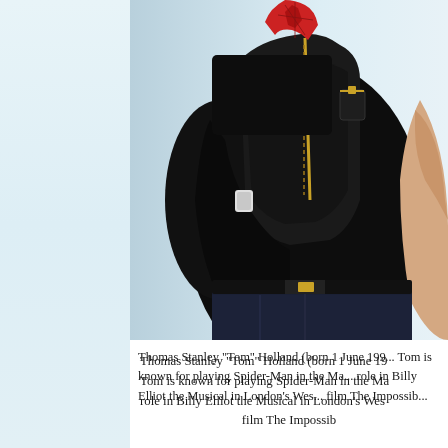[Figure (photo): Photo of a person wearing a black t-shirt and black vest/backpack with gold zipper details and a red Spider-Man costume visible underneath, standing against a light blue-white background. The photo is cropped to show the torso area.]
Thomas Stanley "Tom" Holland (born 1 June 19... Tom is known for playing Spider-Man in the Ma... role in Billy Elliot the Musical in London's Wes... film The Impossib...